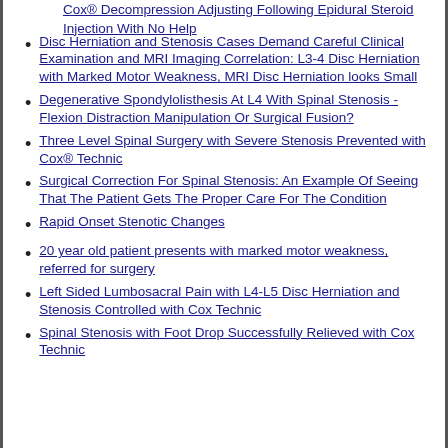Cox® Decompression Adjusting Following Epidural Steroid Injection With No Help
Disc Herniation and Stenosis Cases Demand Careful Clinical Examination and MRI Imaging Correlation: L3-4 Disc Herniation with Marked Motor Weakness, MRI Disc Herniation looks Small
Degenerative Spondylolisthesis At L4 With Spinal Stenosis - Flexion Distraction Manipulation Or Surgical Fusion?
Three Level Spinal Surgery with Severe Stenosis Prevented with Cox® Technic
Surgical Correction For Spinal Stenosis: An Example Of Seeing That The Patient Gets The Proper Care For The Condition
Rapid Onset Stenotic Changes
20 year old patient presents with marked motor weakness, referred for surgery
Left Sided Lumbosacral Pain with L4-L5 Disc Herniation and Stenosis Controlled with Cox Technic
Spinal Stenosis with Foot Drop Successfully Relieved with Cox Technic